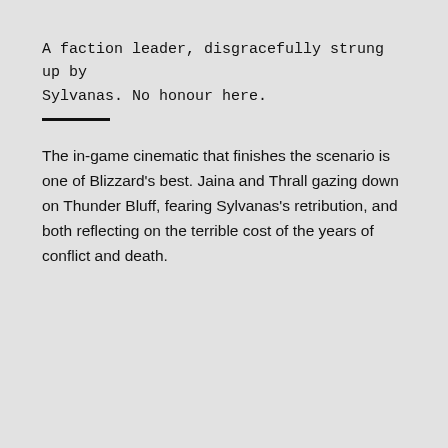A faction leader, disgracefully strung up by Sylvanas. No honour here.
The in-game cinematic that finishes the scenario is one of Blizzard’s best. Jaina and Thrall gazing down on Thunder Bluff, fearing Sylvanas’s retribution, and both reflecting on the terrible cost of the years of conflict and death.